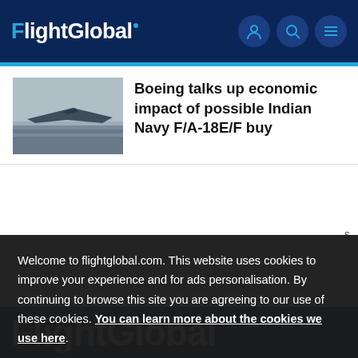FlightGlobal
[Figure (photo): Fighter jet on airport tarmac, grayscale/muted colors]
Boeing talks up economic impact of possible Indian Navy F/A-18E/F buy
Welcome to flightglobal.com. This website uses cookies to improve your experience and for ads personalisation. By continuing to browse this site you are agreeing to our use of these cookies. You can learn more about the cookies we use here.
FlightGlobal